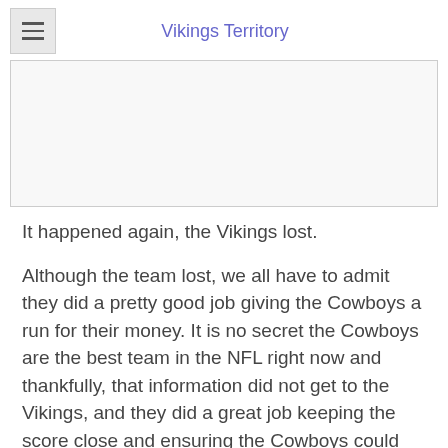Vikings Territory
[Figure (other): Advertisement placeholder box]
It happened again, the Vikings lost.
Although the team lost, we all have to admit they did a pretty good job giving the Cowboys a run for their money. It is no secret the Cowboys are the best team in the NFL right now and thankfully, that information did not get to the Vikings, and they did a great job keeping the score close and ensuring the Cowboys could not get too far ahead.